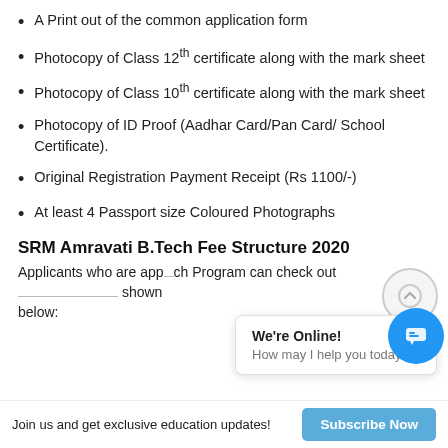A Print out of the common application form
Photocopy of Class 12th certificate along with the mark sheet
Photocopy of Class 10th certificate along with the mark sheet
Photocopy of ID Proof (Aadhar Card/Pan Card/ School Certificate).
Original Registration Payment Receipt (Rs 1100/-)
At least 4 Passport size Coloured Photographs
SRM Amravati B.Tech Fee Structure 2020
Applicants who are app...ch Program can check out the details of the fee details shown below:
We're Online!
How may I help you today?
Join us and get exclusive education updates!